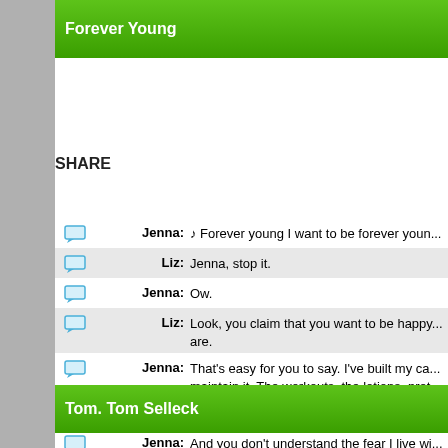Forever Young
SHARE
Jenna: ♪ Forever young I want to be forever young
Liz: Jenna, stop it.
Jenna: Ow.
Liz: Look, you claim that you want to be happy as you are.
Jenna: That's easy for you to say. I've built my career to maintain it. The workouts, the lotions, pre...
Liz: Hm, that's...
Jenna: And you don't understand the fear I live wi...
Liz: Yes, I do. We all have secrets. You know t...
Jenna: What are you talking about?
Liz: If you come out as your real age, I will rev...
Jenna: [Gasping] You would do that for me? How...
Liz: Well, if I do nothing, he'll be here within 48...
Jenna: Ow.
Tom. Tom Selleck